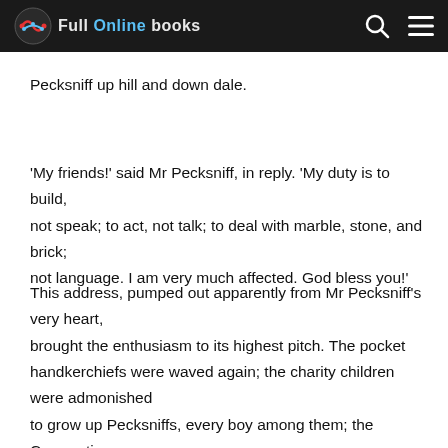Full Online Books
Pecksniff up hill and down dale.
'My friends!' said Mr Pecksniff, in reply. 'My duty is to build, not speak; to act, not talk; to deal with marble, stone, and brick; not language. I am very much affected. God bless you!'
This address, pumped out apparently from Mr Pecksniff's very heart, brought the enthusiasm to its highest pitch. The pocket handkerchiefs were waved again; the charity children were admonished to grow up Pecksniffs, every boy among them; the Corporation, gentlemen with wands, member for the Gentlemanly Interest, all cheered for Mr Pecksniff. Three cheers for Mr Pecksniff! Three more for Mr Pecksniff! Three more for Mr Pecksniff, gentlemen, if you please! One more, gentlemen, for Mr Pecksniff, and let it be a good one to finish with!